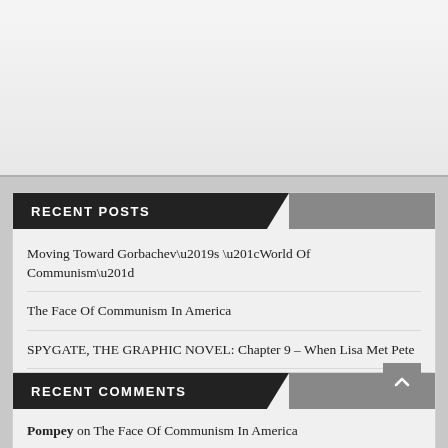RECENT POSTS
Moving Toward Gorbachev’s “World Of Communism”
The Face Of Communism In America
SPYGATE, THE GRAPHIC NOVEL: Chapter 9 – When Lisa Met Pete
Biden Admin Ignores Cartels Trafficking Human Organs
Suitable Ratings For The Audience/Students Must Be Challenged
RECENT COMMENTS
Pompey on The Face Of Communism In America